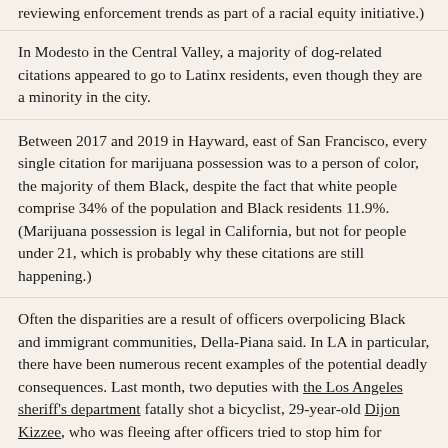reviewing enforcement trends as part of a racial equity initiative.)
In Modesto in the Central Valley, a majority of dog-related citations appeared to go to Latinx residents, even though they are a minority in the city.
Between 2017 and 2019 in Hayward, east of San Francisco, every single citation for marijuana possession was to a person of color, the majority of them Black, despite the fact that white people comprise 34% of the population and Black residents 11.9%. (Marijuana possession is legal in California, but not for people under 21, which is probably why these citations are still happening.)
Often the disparities are a result of officers overpolicing Black and immigrant communities, Della-Piana said. In LA in particular, there have been numerous recent examples of the potential deadly consequences. Last month, two deputies with the Los Angeles sheriff's department fatally shot a bicyclist, 29-year-old Dijon Kizzee, who was fleeing after officers tried to stop him for allegedly riding in the wrong direction.
LAPD and other police agencies did not immediately respond to